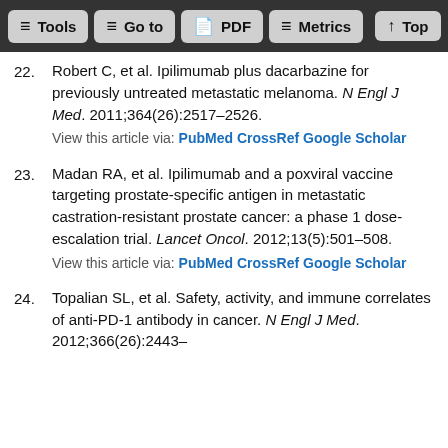Tools | Go to | PDF | Metrics | Top
22. Robert C, et al. Ipilimumab plus dacarbazine for previously untreated metastatic melanoma. N Engl J Med. 2011;364(26):2517–2526.
View this article via: PubMed CrossRef Google Scholar
23. Madan RA, et al. Ipilimumab and a poxviral vaccine targeting prostate-specific antigen in metastatic castration-resistant prostate cancer: a phase 1 dose-escalation trial. Lancet Oncol. 2012;13(5):501–508.
View this article via: PubMed CrossRef Google Scholar
24. Topalian SL, et al. Safety, activity, and immune correlates of anti-PD-1 antibody in cancer. N Engl J Med. 2012;366(26):2443–